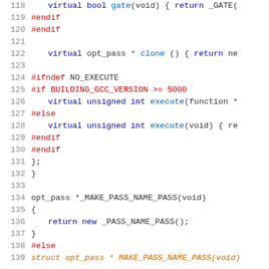[Figure (screenshot): Source code listing showing C++ code with line numbers 118-139, featuring preprocessor directives, virtual function declarations, and class definitions in a syntax-highlighted code editor view.]